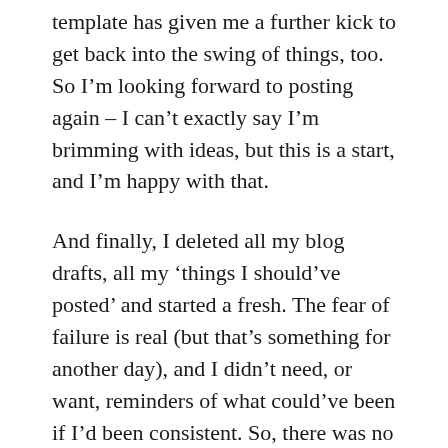template has given me a further kick to get back into the swing of things, too.  So I'm looking forward to posting again – I can't exactly say I'm brimming with ideas, but this is a start, and I'm happy with that.
And finally, I deleted all my blog drafts, all my 'things I should've posted' and started a fresh. The fear of failure is real (but that's something for another day), and I didn't need, or want, reminders of what could've been if I'd been consistent. So, there was no time like the present to strip it all back and 'spring clean' my online life.
It has given me a nice blank canvas to start